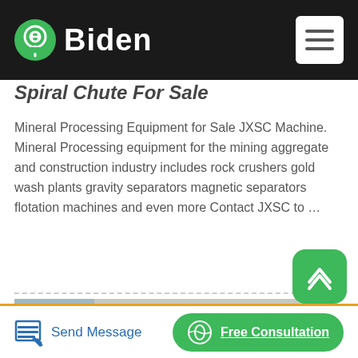Biden
Spiral Chute For Sale
Mineral Processing Equipment for Sale JXSC Machine. Mineral Processing equipment for the mining aggregate and construction industry includes rock crushers gold wash plants gravity separators magnetic separators flotation machines and even more Contact JXSC to …
[Figure (photo): Orange mineral flotation machines or spiral chutes lined up outdoors in front of a factory building with Chinese characters on the facade]
Send Message | Free Consultation